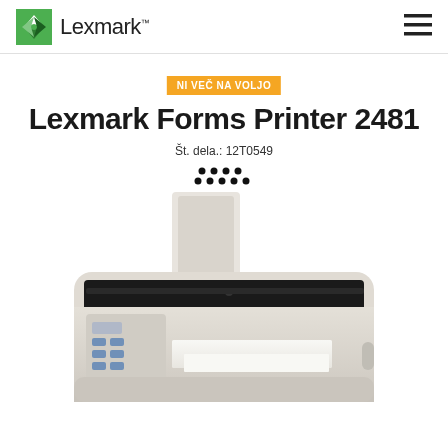Lexmark
NI VEČ NA VOLJO
Lexmark Forms Printer 2481
Št. dela.: 12T0549
[Figure (photo): Lexmark Forms Printer 2481 dot matrix printer, light gray color, with paper loaded, shown from front-right angle]